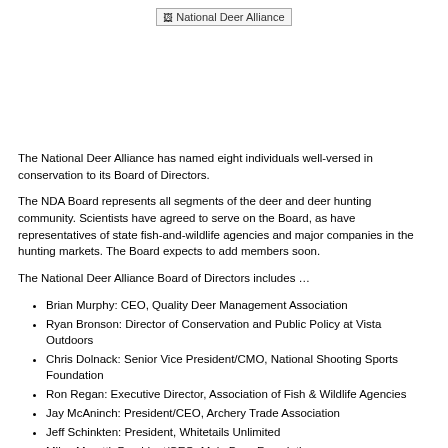[Figure (logo): National Deer Alliance logo placeholder]
The National Deer Alliance has named eight individuals well-versed in conservation to its Board of Directors.
The NDA Board represents all segments of the deer and deer hunting community. Scientists have agreed to serve on the Board, as have representatives of state fish-and-wildlife agencies and major companies in the hunting markets. The Board expects to add members soon.
The National Deer Alliance Board of Directors includes …
Brian Murphy: CEO, Quality Deer Management Association
Ryan Bronson: Director of Conservation and Public Policy at Vista Outdoors
Chris Dolnack: Senior Vice President/CMO, National Shooting Sports Foundation
Ron Regan: Executive Director, Association of Fish & Wildlife Agencies
Jay McAninch: President/CEO, Archery Trade Association
Jeff Schinkten: President, Whitetails Unlimited
Miles Moretti: President/CEO, Mule Deer Foundation
Randy Walk: President, Hoyt Archery